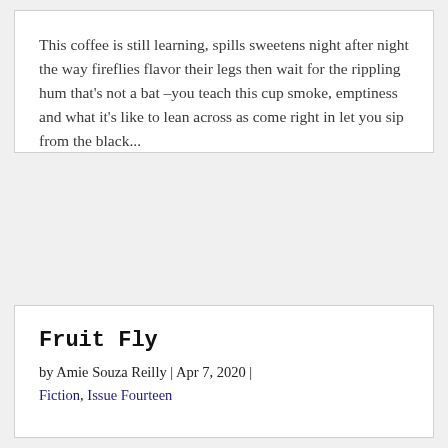This coffee is still learning, spills sweetens night after night the way fireflies flavor their legs then wait for the rippling hum that's not a bat –you teach this cup smoke, emptiness and what it's like to lean across as come right in let you sip from the black...
Fruit Fly
by Amie Souza Reilly | Apr 7, 2020 | Fiction, Issue Fourteen